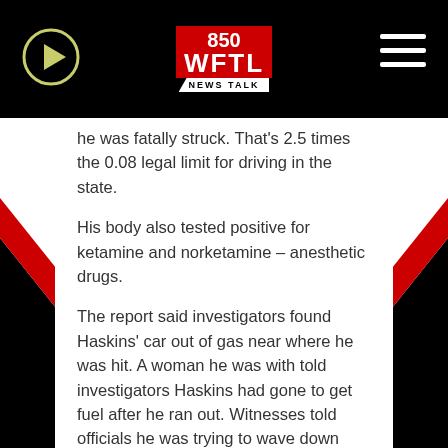[Figure (logo): 850 WFTL News Talk radio logo on black header bar with play button and hamburger menu]
he was fatally struck. That's 2.5 times the 0.08 legal limit for driving in the state.
His body also tested positive for ketamine and norketamine – anesthetic drugs.
The report said investigators found Haskins' car out of gas near where he was hit. A woman he was with told investigators Haskins had gone to get fuel after he ran out. Witnesses told officials he was trying to wave down cars and standing in the center lane when he was hit by the truck and then an SUV. The report said he died of blunt force trauma. No charges have been filed.
The Steelers told investigators that Haskins had no mental health issues and had never made any suicidal